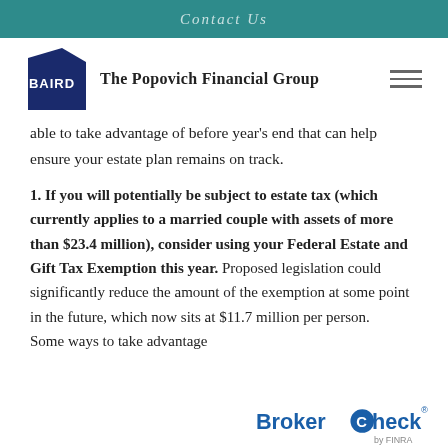Contact Us
[Figure (logo): Baird logo (navy blue diamond/pentagon shape with BAIRD text in white) alongside 'The Popovich Financial Group' firm name]
able to take advantage of before year's end that can help ensure your estate plan remains on track.
1. If you will potentially be subject to estate tax (which currently applies to a married couple with assets of more than $23.4 million), consider using your Federal Estate and Gift Tax Exemption this year. Proposed legislation could significantly reduce the amount of the exemption at some point in the future, which now sits at $11.7 million per person. Some ways to take advantage
[Figure (logo): BrokerCheck by FINRA logo in bottom right corner]